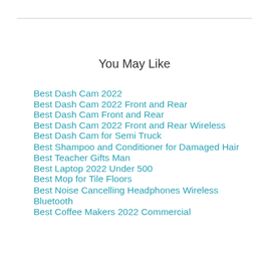You May Like
Best Dash Cam 2022
Best Dash Cam 2022 Front and Rear
Best Dash Cam Front and Rear
Best Dash Cam 2022 Front and Rear Wireless
Best Dash Cam for Semi Truck
Best Shampoo and Conditioner for Damaged Hair
Best Teacher Gifts Man
Best Laptop 2022 Under 500
Best Mop for Tile Floors
Best Noise Cancelling Headphones Wireless Bluetooth
Best Coffee Makers 2022 Commercial